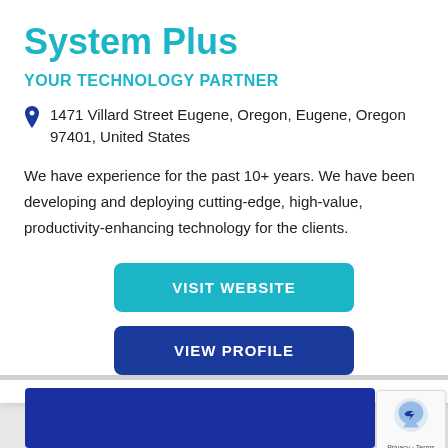System Plus
YOUR TECHNOLOGY PARTNER
1471 Villard Street Eugene, Oregon, Eugene, Oregon 97401, United States
We have experience for the past 10+ years. We have been developing and deploying cutting-edge, high-value, productivity-enhancing technology for the clients.
VISIT WEBSITE
VIEW PROFILE